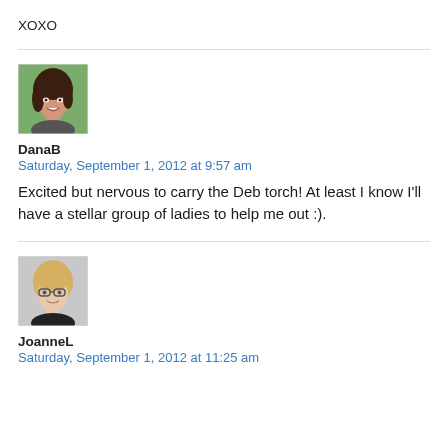XOXO
[Figure (photo): Profile photo of DanaB, a brunette woman smiling outdoors]
DanaB
Saturday, September 1, 2012 at 9:57 am
Excited but nervous to carry the Deb torch! At least I know I'll have a stellar group of ladies to help me out :).
[Figure (photo): Profile photo of JoanneL, a blonde woman wearing glasses]
JoanneL
Saturday, September 1, 2012 at 11:25 am